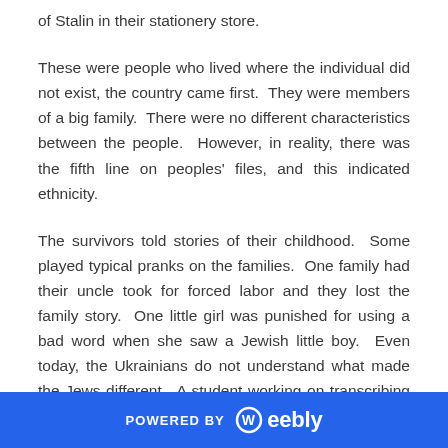of Stalin in their stationery store.
These were people who lived where the individual did not exist, the country came first.  They were members of a big family.  There were no different characteristics between the people.  However, in reality, there was the fifth line on peoples' files, and this indicated ethnicity.
The survivors told stories of their childhood.  Some played typical pranks on the families.  One family had their uncle took for forced labor and they lost the family story.  One little girl was punished for using a bad word when she saw a Jewish little boy.  Even today, the Ukrainians do not understand what made the Jews different.  A student working on transcribing the
POWERED BY weebly